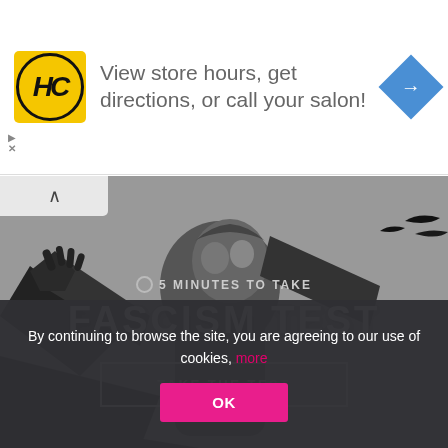[Figure (screenshot): Advertisement banner with HC logo in yellow circle, text 'View store hours, get directions, or call your salon!' and blue diamond arrow icon]
[Figure (illustration): Grayscale stylized illustration of a classical statue figure with raised arms against grey sky with birds, overlaid with text '5 MINUTES TO TAKE' and 'FASCISM TEST' and a 'TAKE THE TEST' button]
By continuing to browse the site, you are agreeing to our use of cookies, more
OK